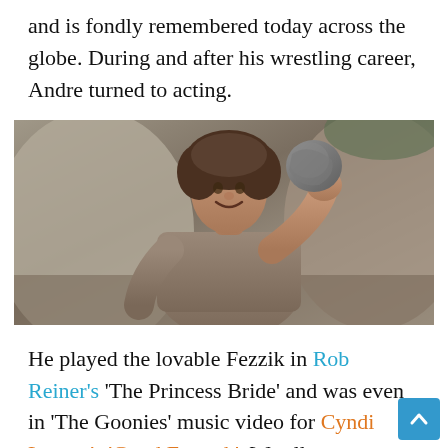and is fondly remembered today across the globe. During and after his wrestling career, Andre turned to acting.
[Figure (photo): Andre the Giant in a medieval tunic costume holding a large rock in one hand, smiling, with stone boulders in the background — a still from 'The Princess Bride' film.]
He played the lovable Fezzik in Rob Reiner's 'The Princess Bride' and was even in 'The Goonies' music video for Cyndi Lauper's 'Good Enough'. We all